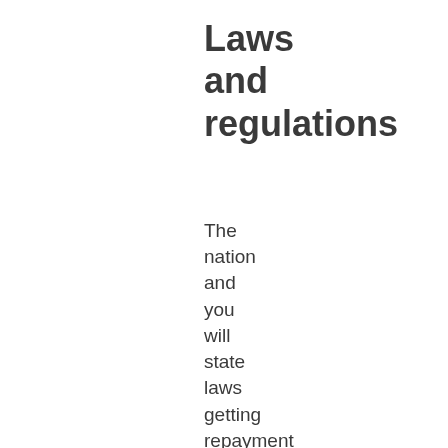Laws and regulations
The nation and you will state laws getting repayment loans are very different commonly. Try to try to find money Canada had